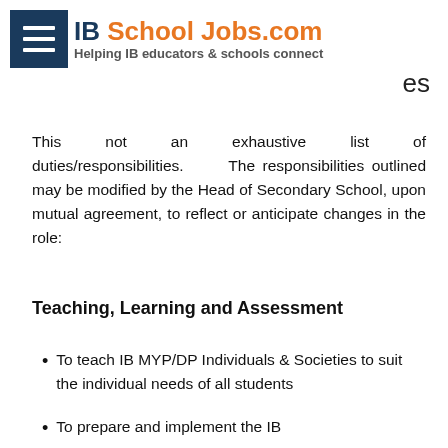IB School Jobs.com — Helping IB educators & schools connect
This not an exhaustive list of duties/responsibilities. The responsibilities outlined may be modified by the Head of Secondary School, upon mutual agreement, to reflect or anticipate changes in the role:
Teaching, Learning and Assessment
To teach IB MYP/DP Individuals & Societies to suit the individual needs of all students
To prepare and implement the IB